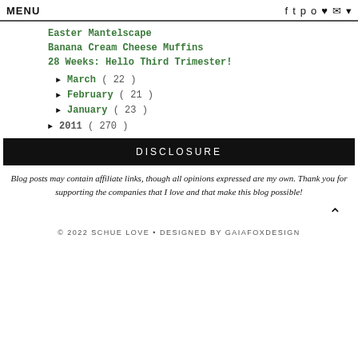MENU   f  t  p  o  ♥  ✉  ▾
Easter Mantelscape
Banana Cream Cheese Muffins
28 Weeks: Hello Third Trimester!
► March ( 22 )
► February ( 21 )
► January ( 23 )
► 2011 ( 270 )
DISCLOSURE
Blog posts may contain affiliate links, though all opinions expressed are my own. Thank you for supporting the companies that I love and that make this blog possible!
© 2022 SCHUE LOVE • DESIGNED BY GAIAFOXDESIGN